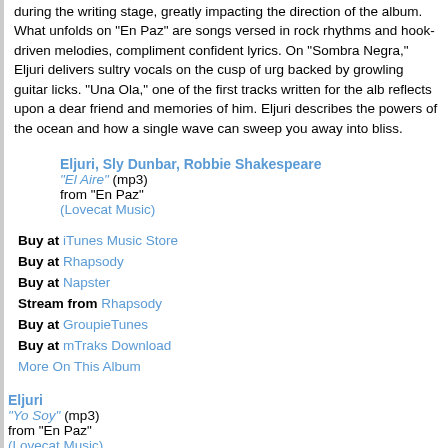during the writing stage, greatly impacting the direction of the album. What unfolds on "En Paz" are songs versed in rock rhythms and hook-driven melodies, compliment confident lyrics. On "Sombra Negra," Eljuri delivers sultry vocals on the cusp of urg backed by growling guitar licks. "Una Ola," one of the first tracks written for the alb reflects upon a dear friend and memories of him. Eljuri describes the powers of the ocean and how a single wave can sweep you away into bliss.
Eljuri, Sly Dunbar, Robbie Shakespeare
"El Aire" (mp3)
from "En Paz"
(Lovecat Music)
Buy at iTunes Music Store
Buy at Rhapsody
Buy at Napster
Stream from Rhapsody
Buy at GroupieTunes
Buy at mTraks Download
More On This Album
Eljuri
"Yo Soy" (mp3)
from "En Paz"
(Lovecat Music)
Buy at iTunes Music Store
Buy at Rhapsody
Buy at Napster
Stream from Rhapsody
Buy at GroupieTunes
Buy at mTraks Download
Eljuri, Johnette Napolitano
"Jaula" (mp3)
from "En Paz"
(Lovecat Music)